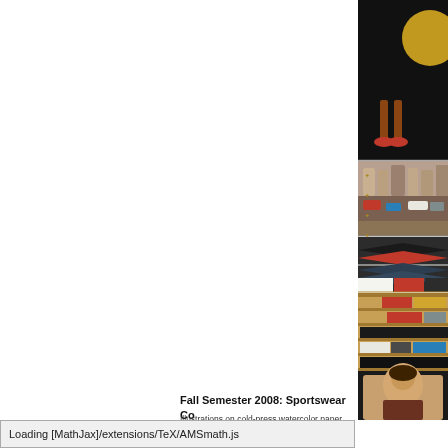[Figure (illustration): Composite artwork collage showing fashion illustration elements: figure with red shoes at top on dark background, street scene in middle, fabric swatches with chevron pattern, shelf with colored fabric rolls (tan, red, black), and portrait at bottom. Vertical decorative text along left edge.]
Fall Semester 2008: Sportswear Co...
Illustrations on cold-press watercolor paper and...
Mounted on 14" x 18" Museum board.
Loading [MathJax]/extensions/TeX/AMSmath.js